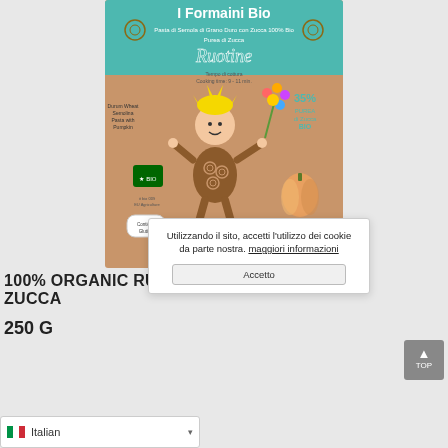[Figure (photo): Product photo of 'I Formaini Bio' Ruotine pasta box - Pasta di Semola di Grano Duro con Zucca 100% Bio, Purea di Zucca, 250g (8.8oz), with cartoon figure character and pumpkin illustration on a kraft brown box.]
100% ORGANIC RUOTINE CON PUREA DI ZUCCA
250 G
Utilizzando il sito, accetti l'utilizzo dei cookie da parte nostra. maggiori informazioni
Accetto
Italian